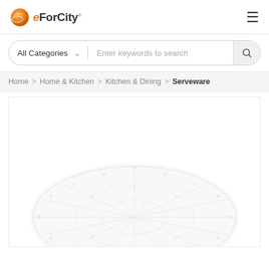[Figure (logo): eForCity logo with orange globe icon and company name]
All Categories   Enter keywords to search
Home > Home & Kitchen > Kitchen & Dining > Serveware
[Figure (photo): White lace/sequin decorative serveware item on white background]